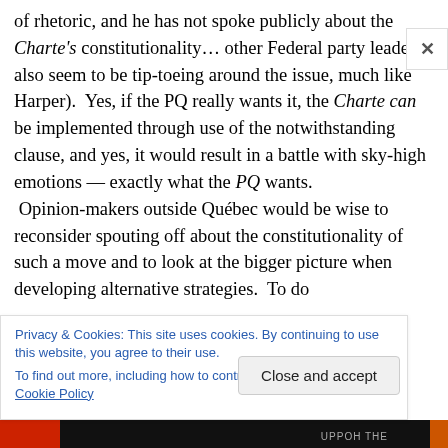of rhetoric, and he has not spoke publicly about the Charte's constitutionality… other Federal party leaders also seem to be tip-toeing around the issue, much like Harper).  Yes, if the PQ really wants it, the Charte can be implemented through use of the notwithstanding clause, and yes, it would result in a battle with sky-high emotions — exactly what the PQ wants.
 Opinion-makers outside Québec would be wise to reconsider spouting off about the constitutionality of such a move and to look at the bigger picture when developing alternative strategies.  To do
Privacy & Cookies: This site uses cookies. By continuing to use this website, you agree to their use.
To find out more, including how to control cookies, see here: Cookie Policy
Close and accept